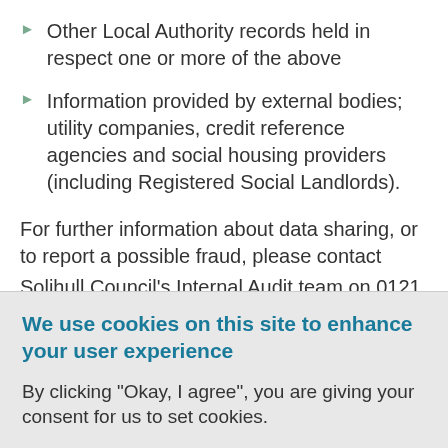Other Local Authority records held in respect one or more of the above
Information provided by external bodies; utility companies, credit reference agencies and social housing providers (including Registered Social Landlords).
For further information about data sharing, or to report a possible fraud, please contact Solihull Council's Internal Audit team on 0121
We use cookies on this site to enhance your user experience
By clicking "Okay, I agree", you are giving your consent for us to set cookies.